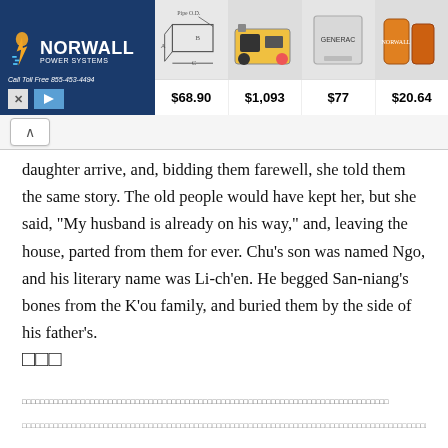[Figure (screenshot): Norwall Power Systems banner advertisement showing logo, product images (pipe fitting, generator, Generac box, filter), prices $68.90, $1,093, $77, $20.64]
daughter arrive, and, bidding them farewell, she told them the same story. The old people would have kept her, but she said, "My husband is already on his way," and, leaving the house, parted from them for ever. Chu's son was named Ngo, and his literary name was Li-ch'en. He begged San-niang's bones from the K'ou family, and buried them by the side of his father's.
□□□
□□□□□□□□□□□□□□□□□□□□□□□□□□□□□□□□□□□□□□□□□□□□□□□□□□□□□□□□□□□□□□□□□□□□□□□□□□□□□□□
□□□□□□□□□□□□□□□□□□□□□□□□□□□□□□□□□□□□□□□□□□□□□□□□□□□□□□□□□□□□□□□□□□□□□□□□□□□□□□□□□□□□□□□□□□□□□□